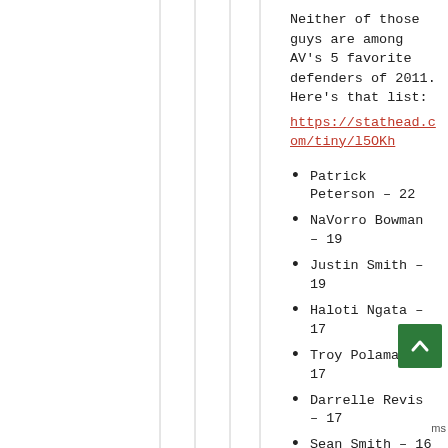Neither of those guys are among AV's 5 favorite defenders of 2011. Here's that list:
https://stathead.com/tiny/l5OKh
Patrick Peterson – 22
NaVorro Bowman – 19
Justin Smith – 19
Haloti Ngata – 17
Troy Polamalu – 17
Darrelle Revis – 17
Sean Smith – 16
Terrell Suggs – 16
Patrick Willis – 16
Brian Cushing – 15
DeMarcus Ware – 15
Jared Allen – 14
Geno Atkins – 14